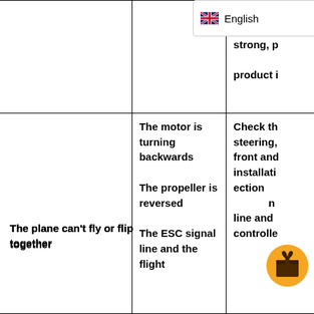[Figure (screenshot): Language selector UI element showing UK flag and 'English' text with dropdown chevron]
|  |  | environm... strong, p... product i... |
| The plane can't fly or flip together | The motor is turning backwards

The propeller is reversed

The ESC signal line and the flight | Check th... steering,... front and... installati... ection...
...n...
line and ...
controlle... |